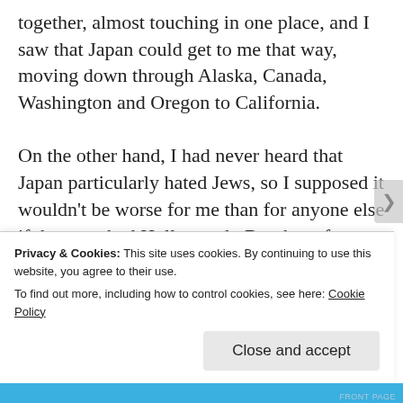together, almost touching in one place, and I saw that Japan could get to me that way, moving down through Alaska, Canada, Washington and Oregon to California.

On the other hand, I had never heard that Japan particularly hated Jews, so I supposed it wouldn't be worse for me than for anyone else if they reached Hollywood.  But the safest place to live seemed to be Kansas, because it was equally far from each coast.  It would take both Japan and Germany a long time to get there.
Privacy & Cookies: This site uses cookies. By continuing to use this website, you agree to their use.
To find out more, including how to control cookies, see here: Cookie Policy